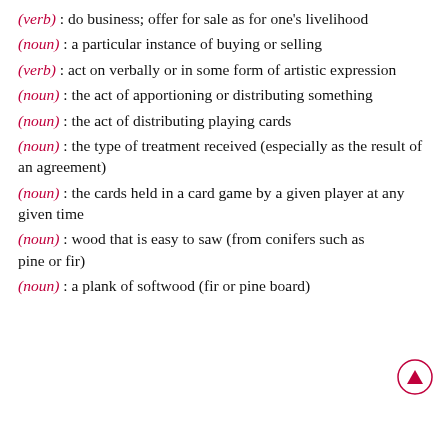(verb): do business; offer for sale as for one's livelihood
(noun): a particular instance of buying or selling
(verb): act on verbally or in some form of artistic expression
(noun): the act of apportioning or distributing something
(noun): the act of distributing playing cards
(noun): the type of treatment received (especially as the result of an agreement)
(noun): the cards held in a card game by a given player at any given time
(noun): wood that is easy to saw (from conifers such as pine or fir)
(noun): a plank of softwood (fir or pine board)